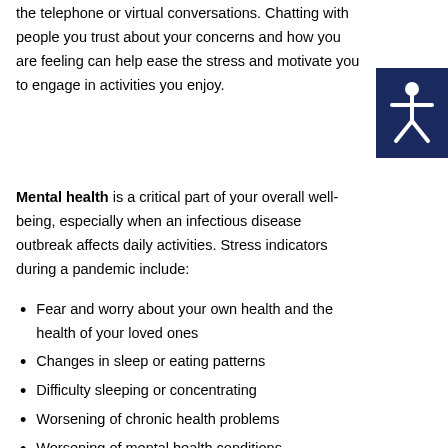the telephone or virtual conversations. Chatting with people you trust about your concerns and how you are feeling can help ease the stress and motivate you to engage in activities you enjoy.
[Figure (illustration): Dark navy blue square icon with a white accessibility/person figure symbol (stick figure with arms and legs spread)]
Mental health is a critical part of your overall well-being, especially when an infectious disease outbreak affects daily activities. Stress indicators during a pandemic include:
Fear and worry about your own health and the health of your loved ones
Changes in sleep or eating patterns
Difficulty sleeping or concentrating
Worsening of chronic health problems
Worsening of mental health conditions
Increased use of alcohol or tobacco